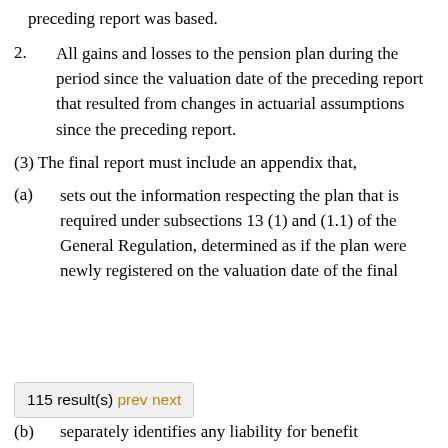preceding report was based.
2. All gains and losses to the pension plan during the period since the valuation date of the preceding report that resulted from changes in actuarial assumptions since the preceding report.
(3) The final report must include an appendix that,
(a) sets out the information respecting the plan that is required under subsections 13 (1) and (1.1) of the General Regulation, determined as if the plan were newly registered on the valuation date of the final
115 result(s) prev next
(b) separately identifies any liability for benefit